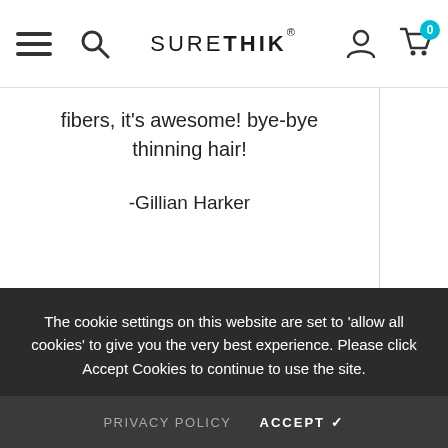SURETHIK — navigation header with hamburger menu, search icon, logo, account icon, cart icon (0)
fibers, it's awesome! bye-bye thinning hair!

-Gillian Harker
The cookie settings on this website are set to 'allow all cookies' to give you the very best experience. Please click Accept Cookies to continue to use the site.
PRIVACY POLICY   ACCEPT ✔